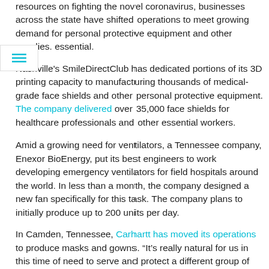resources on fighting the novel coronavirus, businesses across the state have shifted operations to meet growing demand for personal protective equipment and other supplies. essential.
Nashville's SmileDirectClub has dedicated portions of its 3D printing capacity to manufacturing thousands of medical-grade face shields and other personal protective equipment. The company delivered over 35,000 face shields for healthcare professionals and other essential workers.
Amid a growing need for ventilators, a Tennessee company, Enexor BioEnergy, put its best engineers to work developing emergency ventilators for field hospitals around the world. In less than a month, the company designed a new fan specifically for this task. The company plans to initially produce up to 200 units per day.
In Camden, Tennessee, Carhartt has moved its operations to produce masks and gowns. “It’s really natural for us in this time of need to serve and protect a different group of workers right now, a